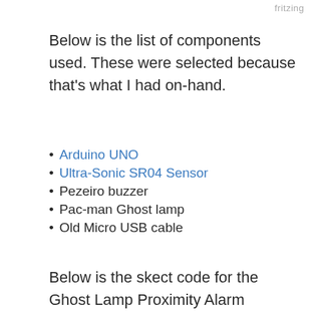fritzing
Below is the list of components used. These were selected because that's what I had on-hand.
Arduino UNO
Ultra-Sonic SR04 Sensor
Pezeiro buzzer
Pac-man Ghost lamp
Old Micro USB cable
Below is the skect code for the Ghost Lamp Proximity Alarm
#define trigPin 2
#define echoPin 3
#define lightPin 11